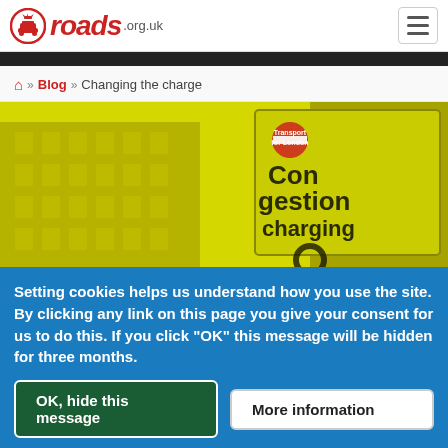roads.org.uk
» Blog » Changing the charge
[Figure (photo): Yellow-tinted photograph of a Transport for London Congestion Charging sign in front of a multi-story brick building]
Setting cookies helps us understand how you use the site. By clicking any link on this page you give your consent for us to do this. If you click "OK" this message will be hidden for three months.